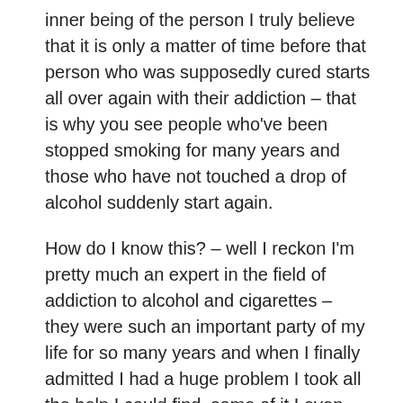inner being of the person I truly believe that it is only a matter of time before that person who was supposedly cured starts all over again with their addiction – that is why you see people who've been stopped smoking for many years and those who have not touched a drop of alcohol suddenly start again.
How do I know this? – well I reckon I'm pretty much an expert in the field of addiction to alcohol and cigarettes – they were such an important party of my life for so many years and when I finally admitted I had a huge problem I took all the help I could find, some of it I even paid for. I did